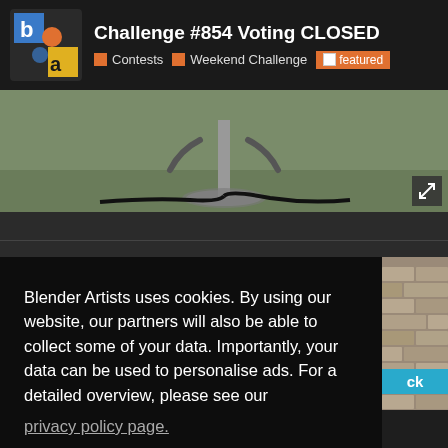Challenge #854 Voting CLOSED | Contests | Weekend Challenge | featured
[Figure (screenshot): Screenshot of Blender Artists website showing a contest page header with logo, title 'Challenge #854 Voting CLOSED', tags for Contests, Weekend Challenge, and featured badge. Below is an image of a barber chair base with cables on a green floor. A cookie consent overlay is shown with text about data collection and a 'Got it!' button.]
Blender Artists uses cookies. By using our website, our partners will also be able to collect some of your data. Importantly, your data can be used to personalise ads. For a detailed overview, please see our
privacy policy page.
Got it!